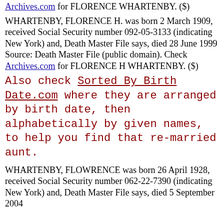Archives.com for FLORENCE WHARTENBY. ($)
WHARTENBY, FLORENCE H. was born 2 March 1909, received Social Security number 092-05-3133 (indicating New York) and, Death Master File says, died 28 June 1999
Source: Death Master File (public domain). Check Archives.com for FLORENCE H WHARTENBY. ($)
Also check Sorted By Birth Date.com where they are arranged by birth date, then alphabetically by given names, to help you find that re-married aunt.
WHARTENBY, FLOWRENCE was born 26 April 1928, received Social Security number 062-22-7390 (indicating New York) and, Death Master File says, died 5 September 2004